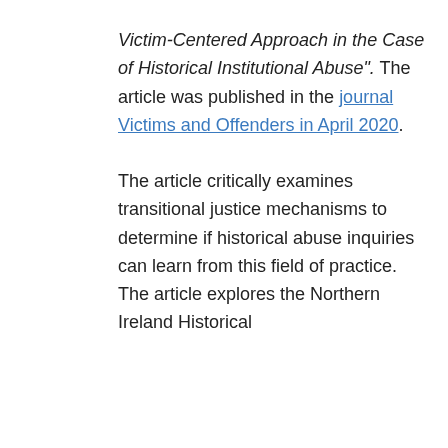Victim-Centered Approach in the Case of Historical Institutional Abuse". The article was published in the journal Victims and Offenders in April 2020. The article critically examines transitional justice mechanisms to determine if historical abuse inquiries can learn from this field of practice. The article explores the Northern Ireland Historical